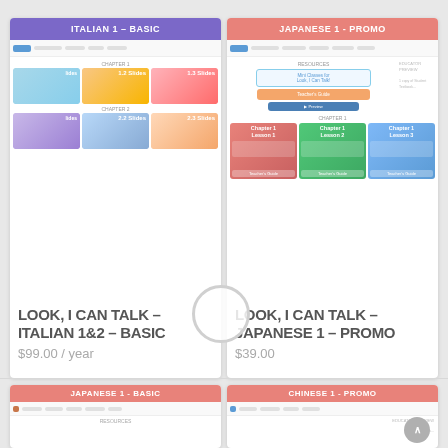ITALIAN 1 – BASIC
JAPANESE 1 - PROMO
[Figure (screenshot): Italian 1 Basic course page screenshot showing chapter 1 and chapter 2 slide thumbnails (1.2 Slides, 1.3 Slides, 2.2 Slides, 2.3 Slides)]
[Figure (screenshot): Japanese 1 Promo course page screenshot showing resources including Teacher's Guide and chapter lesson thumbnails (Chapter 1 Lesson 1, Lesson 2, Lesson 3)]
LOOK, I CAN TALK – ITALIAN 1&2 – BASIC
$99.00 / year
LOOK, I CAN TALK – JAPANESE 1 – PROMO
$39.00
JAPANESE 1 - BASIC
CHINESE 1 - PROMO